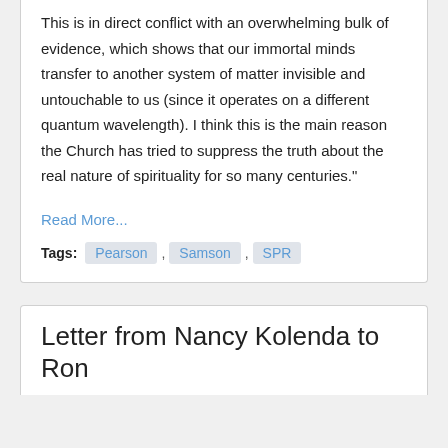This is in direct conflict with an overwhelming bulk of evidence, which shows that our immortal minds transfer to another system of matter invisible and untouchable to us (since it operates on a different quantum wavelength). I think this is the main reason the Church has tried to suppress the truth about the real nature of spirituality for so many centuries."
Read More...
Tags: Pearson , Samson , SPR
Letter from Nancy Kolenda to Ron